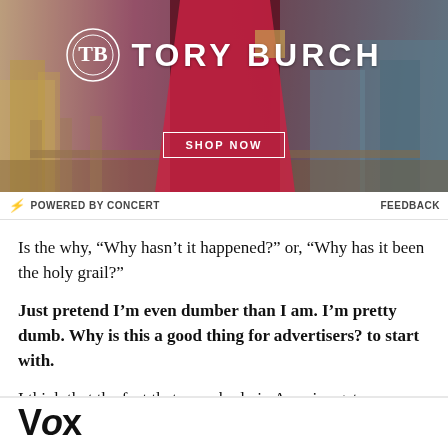[Figure (photo): Tory Burch advertisement banner showing a model in a dark red/maroon cape coat against a city skyline background. Brand name 'TORY BURCH' displayed prominently in white with logo. 'SHOP NOW' button below.]
⚡ POWERED BY CONCERT    FEEDBACK
Is the why, “Why hasn’t it happened?” or, “Why has it been the holy grail?”
Just pretend I’m even dumber than I am. I’m pretty dumb. Why is this a good thing for advertisers? to start with.
I think that the fact that everybody in America gets
Vox